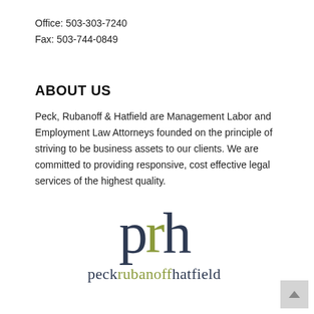Office: 503-303-7240
Fax: 503-744-0849
ABOUT US
Peck, Rubanoff & Hatfield are Management Labor and Employment Law Attorneys founded on the principle of striving to be business assets to our clients. We are committed to providing responsive, cost effective legal services of the highest quality.
[Figure (logo): PRH logo with stylized lowercase letters 'p', 'r', 'h' and full wordmark 'peckrubanoffhatfield' below]